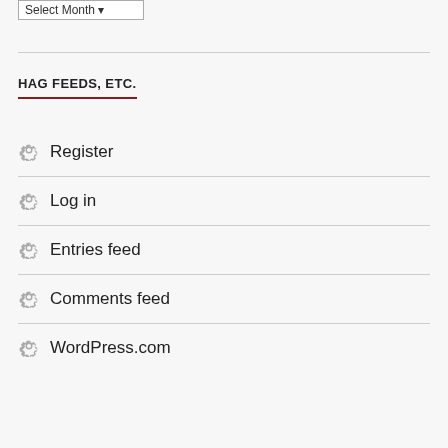Select Month
HAG FEEDS, ETC.
Register
Log in
Entries feed
Comments feed
WordPress.com